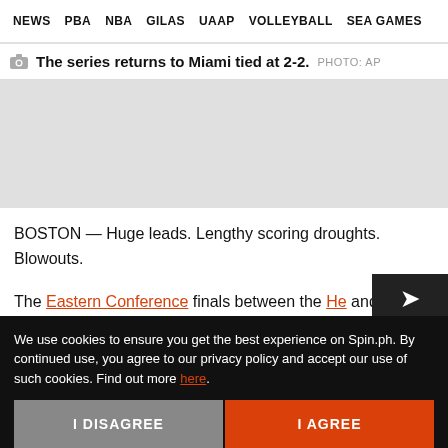NEWS | PBA | NBA | GILAS | UAAP | VOLLEYBALL | SEA GAMES
The series returns to Miami tied at 2-2. PHOTO: AP
[Figure (photo): Gray placeholder image area]
BOSTON — Huge leads. Lengthy scoring droughts. Blowouts.
The Eastern Conference finals between the Heat and Celtics are as close as can be – heading back to Miami all tied up at two wins apiece. But the
We use cookies to ensure you get the best experience on Spin.ph. By continued use, you agree to our privacy policy and accept our use of such cookies. Find out more here.